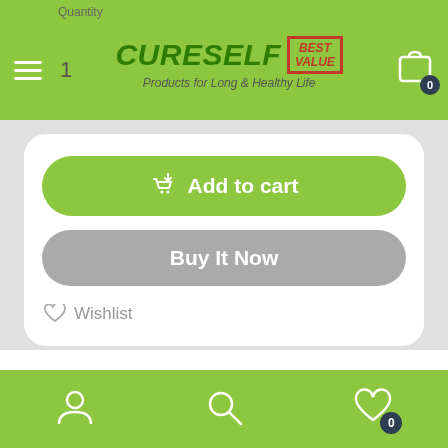Quantity | 1 | CURESELF BEST VALUE Products for Long & Healthy Life | 0
[Figure (screenshot): Add to cart button (green rounded), Buy It Now button (gray rounded), Wishlist link]
Shipping & Returns   Reviews
User icon | Search icon | Wishlist icon with badge 0